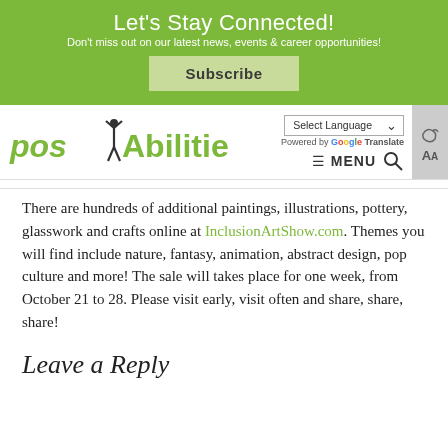Let's Stay Connected!
Don't miss out on our latest news, events & career opportunities!
Subscribe
[Figure (logo): posAbilities logo with green text and human figure silhouette]
Select Language  ∨  Powered by Google Translate  ≡ MENU 🔍  AA
There are hundreds of additional paintings, illustrations, pottery, glasswork and crafts online at InclusionArtShow.com. Themes you will find include nature, fantasy, animation, abstract design, pop culture and more! The sale will takes place for one week, from October 21 to 28. Please visit early, visit often and share, share, share!
Leave a Reply